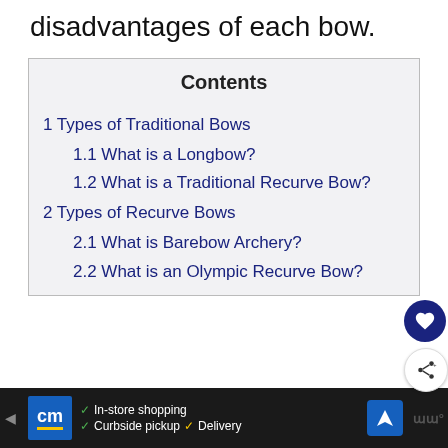disadvantages of each bow.
Contents
1 Types of Traditional Bows
1.1 What is a Longbow?
1.2 What is a Traditional Recurve Bow?
2 Types of Recurve Bows
2.1 What is Barebow Archery?
2.2 What is an Olympic Recurve Bow?
In-store shopping  Curbside pickup  Delivery